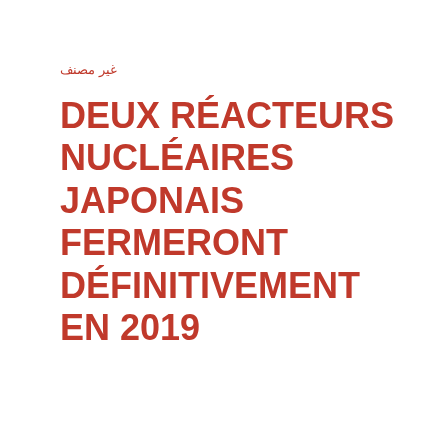غير مصنف
DEUX RÉACTEURS NUCLÉAIRES JAPONAIS FERMERONT DÉFINITIVEMENT EN 2019